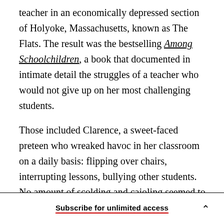teacher in an economically depressed section of Holyoke, Massachusetts, known as The Flats. The result was the bestselling Among Schoolchildren, a book that documented in intimate detail the struggles of a teacher who would not give up on her most challenging students.
Those included Clarence, a sweet-faced preteen who wreaked havoc in her classroom on a daily basis: flipping over chairs, interrupting lessons, bullying other students. No amount of scolding and cajoling seemed to make a difference. (Kidder changed the children's names in the book to protect
Subscribe for unlimited access